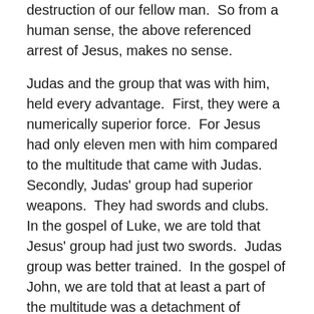destruction of our fellow man.  So from a human sense, the above referenced arrest of Jesus, makes no sense.
Judas and the group that was with him, held every advantage.  First, they were a numerically superior force.  For Jesus had only eleven men with him compared to the multitude that came with Judas.  Secondly, Judas' group had superior weapons.  They had swords and clubs.  In the gospel of Luke, we are told that Jesus' group had just two swords.  Judas group was better trained.  In the gospel of John, we are told that at least a part of the multitude was a detachment of troops.  The gospels do not tell us the professions of all the disciples but we know five of them are fishermen.  A fisherman of that day might have built some considerable strength but that would not equate to training with a sword.  Finally, they had authority on their side.  This was not some mob of the street.  This multitude